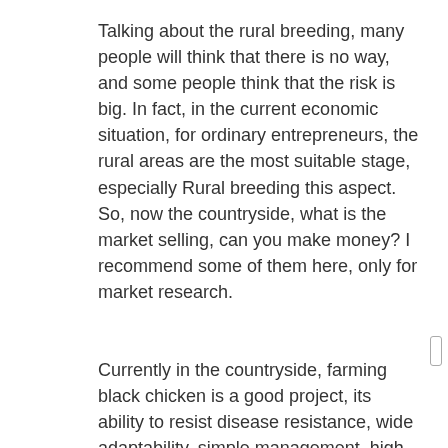Talking about the rural breeding, many people will think that there is no way, and some people think that the risk is big. In fact, in the current economic situation, for ordinary entrepreneurs, the rural areas are the most suitable stage, especially Rural breeding this aspect. So, now the countryside, what is the market selling, can you make money? I recommend some of them here, only for market research.
Currently in the countryside, farming black chicken is a good project, its ability to resist disease resistance, wide adaptability, simple management, high feed remuneration, Fast grow, short breeding cycle, suitable for large-scale breeding. In addition, there is less investment in breastfeeding, there are many output, low cost, high economic efficiency. Popular with black chicken, raise the 1 kg of commercial chicken from the seedlings, usually only 70 ~ 100 days. Each pure profit of each dark chicken is about 2 yuan. The general family farm can cultivate 4 batches per year, with more than 20,000 commercial